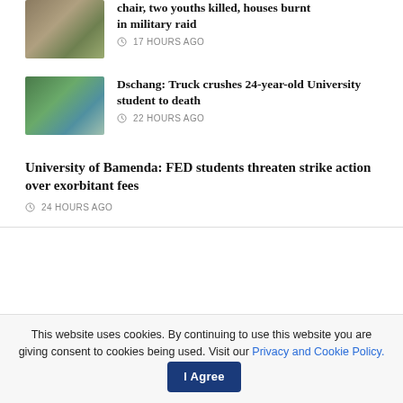chair, two youths killed, houses burnt in military raid
17 HOURS AGO
[Figure (photo): Photo of person outdoors with greenery, article thumbnail for Dschang truck story]
Dschang: Truck crushes 24-year-old University student to death
22 HOURS AGO
University of Bamenda: FED students threaten strike action over exorbitant fees
24 HOURS AGO
Popular News
This website uses cookies. By continuing to use this website you are giving consent to cookies being used. Visit our Privacy and Cookie Policy.